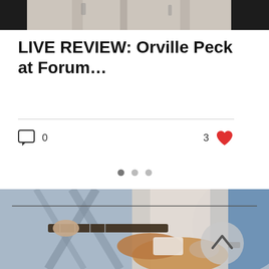[Figure (photo): Top strip showing partial photo of person with tattoos, flanked by dark panels on left and right]
LIVE REVIEW: Orville Peck at Forum…
0 comments, 3 likes
[Figure (photo): Concert photo of a female guitarist playing an electric guitar on stage, wearing a white top, with stage lighting in background. A circular scroll-up button overlay is visible.]